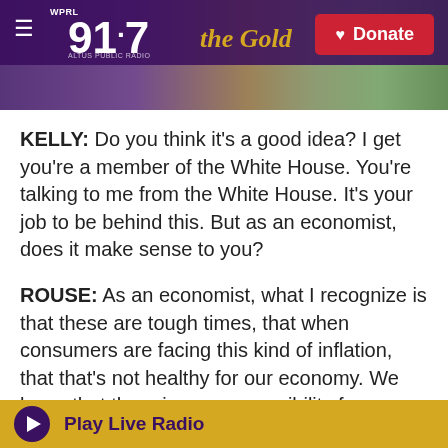91.7 the Gold — WPRL | Altus Public Radio | Donate
KELLY: Do you think it's a good idea? I get you're a member of the White House. You're talking to me from the White House. It's your job to be behind this. But as an economist, does it make sense to you?
ROUSE: As an economist, what I recognize is that these are tough times, that when consumers are facing this kind of inflation, that that's not healthy for our economy. We know that the primary responsibility for dealing with inflation is the Federal Reserve, and - but that this is really painful for many consumers. And so this is part of a plan, is
Play Live Radio